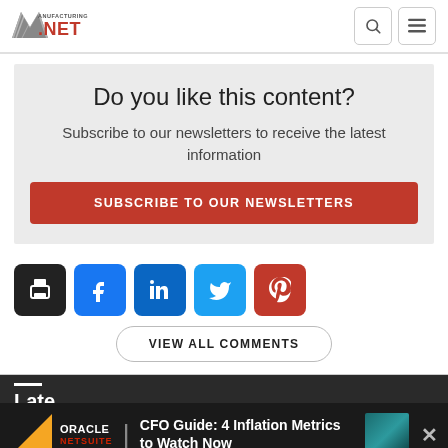[Figure (logo): Manufacturing.net logo with stylized M and red NET text]
Do you like this content?
Subscribe to our newsletters to receive the latest information
SUBSCRIBE TO OUR NEWSLETTERS
[Figure (infographic): Row of social sharing icons: print (black), Facebook (blue), LinkedIn (blue), Twitter (light blue), Pinterest (red)]
VIEW ALL COMMENTS
Late
[Figure (infographic): Oracle NetSuite advertisement: CFO Guide: 4 Inflation Metrics to Watch Now]